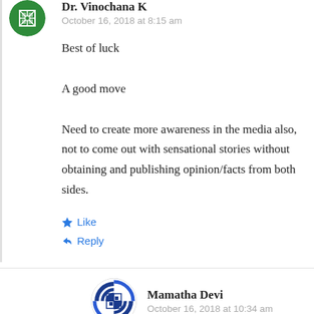[Figure (illustration): Green circular avatar with geometric pattern for Dr. Vinochana K]
Dr. Vinochana K
October 16, 2018 at 8:15 am
Best of luck

A good move

Need to create more awareness in the media also, not to come out with sensational stories without obtaining and publishing opinion/facts from both sides.
Like
Reply
[Figure (illustration): Blue and white circular avatar with geometric pattern for Mamatha Devi]
Mamatha Devi
October 16, 2018 at 10:34 am